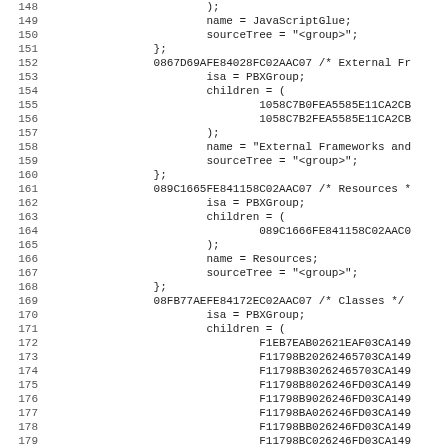Source code listing lines 148-179, showing PBX project file structure with groups: JavaScriptGlue, External Frameworks, Resources, and Classes.